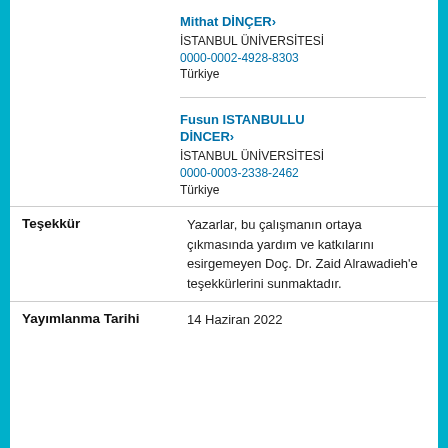Mithat DİNÇER› İSTANBUL ÜNİVERSİTESİ 0000-0002-4928-8303 Türkiye
Fusun ISTANBULLU DİNCER› İSTANBUL ÜNİVERSİTESİ 0000-0003-2338-2462 Türkiye
Teşekkür
Yazarlar, bu çalışmanın ortaya çıkmasında yardım ve katkılarını esirgemeyen Doç. Dr. Zaid Alrawadieh'e teşekkürlerini sunmaktadır.
Yayımlanma Tarihi
14 Haziran 2022